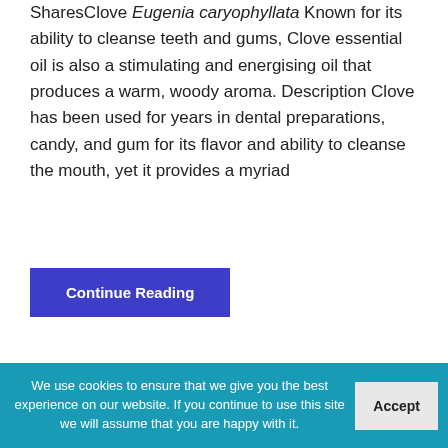SharesClove Eugenia caryophyllata Known for its ability to cleanse teeth and gums, Clove essential oil is also a stimulating and energising oil that produces a warm, woody aroma. Description Clove has been used for years in dental preparations, candy, and gum for its flavor and ability to cleanse the mouth, yet it provides a myriad
Continue Reading
Eucalyptus
We use cookies to ensure that we give you the best experience on our website. If you continue to use this site we will assume that you are happy with it.